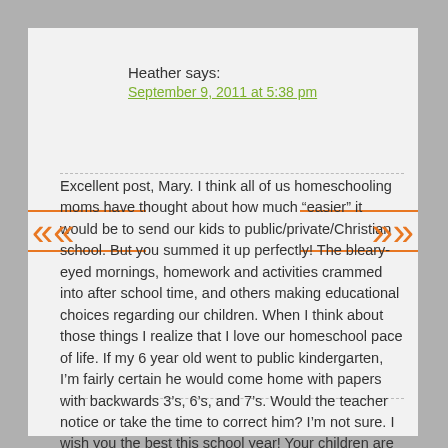Heather says:
September 9, 2011 at 5:38 pm
Excellent post, Mary. I think all of us homeschooling moms have thought about how much “easier” it would be to send our kids to public/private/Christian school. But you summed it up perfectly! The bleary-eyed mornings, homework and activities crammed into after school time, and others making educational choices regarding our children. When I think about those things I realize that I love our homeschool pace of life. If my 6 year old went to public kindergarten, I’m fairly certain he would come home with papers with backwards 3’s, 6’s, and 7’s. Would the teacher notice or take the time to correct him? I’m not sure. I wish you the best this school year! Your children are blessed by you!